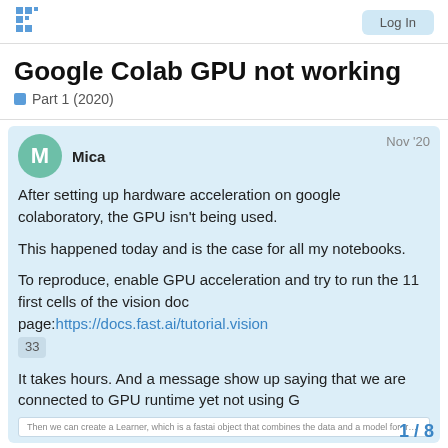Fast.ai forum logo | Log In button
Google Colab GPU not working
Part 1 (2020)
Mica  Nov '20
After setting up hardware acceleration on google colaboratory, the GPU isn't being used.

This happened today and is the case for all my notebooks.

To reproduce, enable GPU acceleration and try to run the 11 first cells of the vision doc page: https://docs.fast.ai/tutorial.vision
33

It takes hours. And a message show up saying that we are connected to GPU runtime yet not using G
[Figure (screenshot): Screenshot thumbnail at bottom of post showing text: 'Then we can create a Learner, which is a fastai object that combines the data and a model for training, and...']
1 / 8